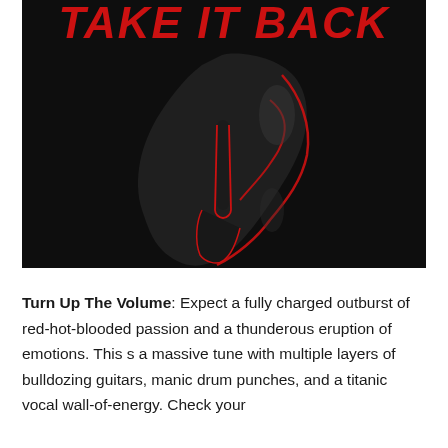[Figure (photo): Album cover or promotional image showing a black and white silhouette of a person holding a finger to their lips in a shushing gesture, with a red outline traced around the figure. Bold red text at the top reads 'TAKE IT BACK'. Dark, dramatic background.]
Turn Up The Volume: Expect a fully charged outburst of red-hot-blooded passion and a thunderous eruption of emotions. This s a massive tune with multiple layers of bulldozing guitars, manic drum punches, and a titanic vocal wall-of-energy. Check your